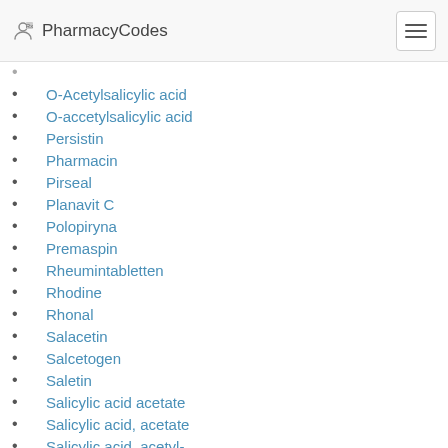PharmacyCodes
O-Acetylsalicylic acid
O-accetylsalicylic acid
Persistin
Pharmacin
Pirseal
Planavit C
Polopiryna
Premaspin
Rheumintabletten
Rhodine
Rhonal
Salacetin
Salcetogen
Saletin
Salicylic acid acetate
Salicylic acid, acetate
Salicylic acid, acetyl-
Solfrin
Solprin
Solprin acid